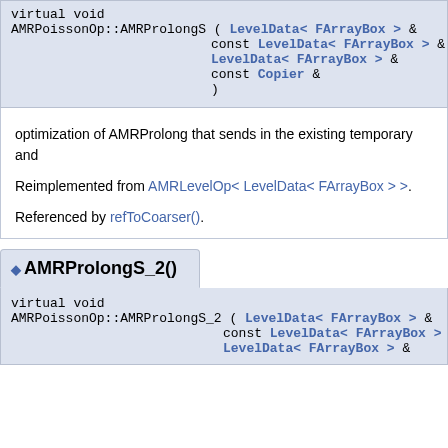virtual void
AMRPoissonOp::AMRProlongS ( LevelData< FArrayBox > &
  const LevelData< FArrayBox > &
  LevelData< FArrayBox > &
  const Copier &
)
optimization of AMRProlong that sends in the existing temporary and
Reimplemented from AMRLevelOp< LevelData< FArrayBox > >.
Referenced by refToCoarser().
AMRProlongS_2()
virtual void
AMRPoissonOp::AMRProlongS_2 ( LevelData< FArrayBox > &
  const LevelData< FArrayBox >
  LevelData< FArrayBox > &